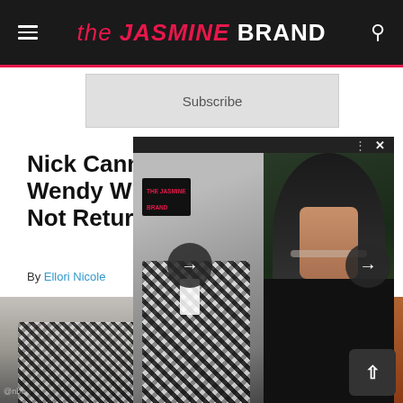the JASMINE BRAND
Subscribe
Nick Cannon Wendy Williams Not Return
By Ellori Nicole
[Figure (screenshot): Screenshot of the Jasmine Brand website showing an article about Nick Cannon and Wendy Williams. Page shows a navigation header with site logo, Subscribe button, article headline, byline by Ellori Nicole, and a slideshow overlay with photos of Nick Cannon in plaid suit and a woman with curly dark hair.]
[Figure (photo): Photo of Nick Cannon wearing a plaid black-and-white blazer at an NBC event]